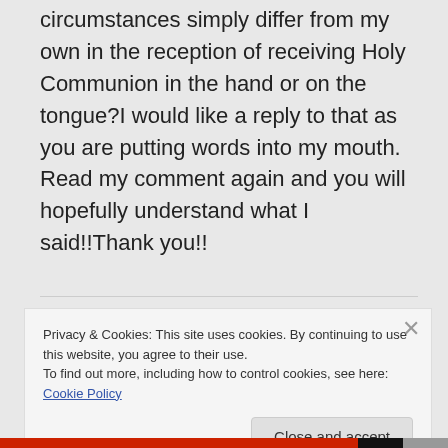circumstances simply differ from my own in the reception of receiving Holy Communion in the hand or on the tongue?I would like a reply to that as you are putting words into my mouth.
Read my comment again and you will hopefully understand what I said!!Thank you!!
Privacy & Cookies: This site uses cookies. By continuing to use this website, you agree to their use.
To find out more, including how to control cookies, see here: Cookie Policy